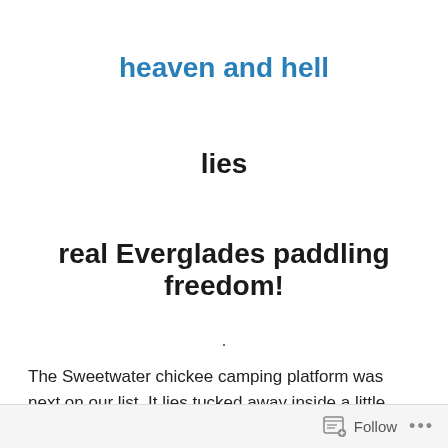heaven and hell
lies
real Everglades paddling freedom!
.
The Sweetwater chickee camping platform was next on our list. It lies tucked away inside a little ‘finger cove’ of
Follow ...